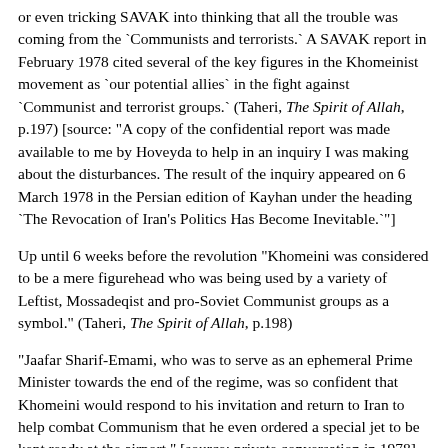or even tricking SAVAK into thinking that all the trouble was coming from the `Communists and terrorists.` A SAVAK report in February 1978 cited several of the key figures in the Khomeinist movement as `our potential allies` in the fight against `Communist and terrorist groups.` (Taheri, The Spirit of Allah, p.197) [source: "A copy of the confidential report was made available to me by Hoveyda to help in an inquiry I was making about the disturbances. The result of the inquiry appeared on 6 March 1978 in the Persian edition of Kayhan under the heading `The Revocation of Iran's Politics Has Become Inevitable.`"]
Up until 6 weeks before the revolution "Khomeini was considered to be a mere figurehead who was being used by a variety of Leftist, Mossadeqist and pro-Soviet Communist groups as a symbol." (Taheri, The Spirit of Allah, p.198)
"Jaafar Sharif-Emami, who was to serve as an ephemeral Prime Minister towards the end of the regime, was so confident that Khomeini would respond to his invitation and return to Iran to help combat Communism that he even ordered a special jet to be kept ready at the airport." [source: private conversation in 1978] (Taheri, The Spirit of Allah, p.199)
"The international media, often bitterly hostile to the Shah" was given the reassurance that "Iran was experiencing a democratic,